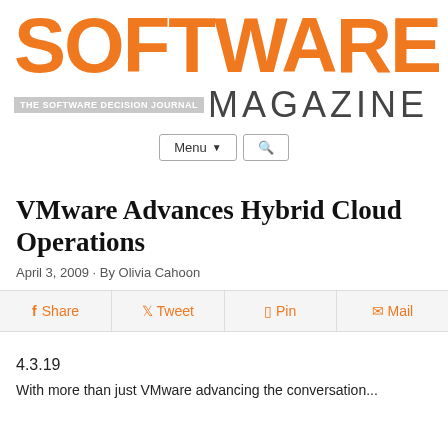SOFTWARE MAGAZINE – THE SOFTWARE DECISION JOURNAL
VMware Advances Hybrid Cloud Operations
April 3, 2009 · By Olivia Cahoon
f Share   🐦 Tweet   @ Pin   ✉ Mail
4.3.19
With more than just VMware advancing the conversation...